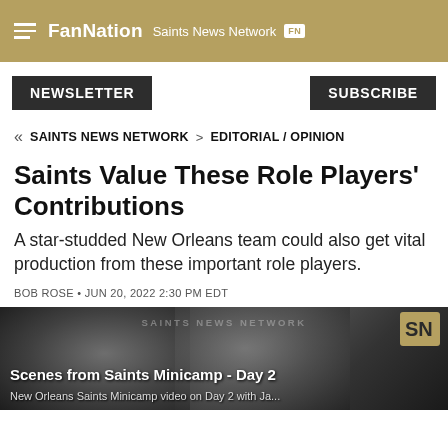FanNation  Saints News Network FN
NEWSLETTER
SUBSCRIBE
« SAINTS NEWS NETWORK > EDITORIAL / OPINION
Saints Value These Role Players' Contributions
A star-studded New Orleans team could also get vital production from these important role players.
BOB ROSE • JUN 20, 2022 2:30 PM EDT
[Figure (screenshot): Video thumbnail showing 'Scenes from Saints Minicamp - Day 2' with subtitle 'New Orleans Saints Minicamp video on Day 2 with Ja...' over a dark background with blurred football players and Saints News Network watermark]